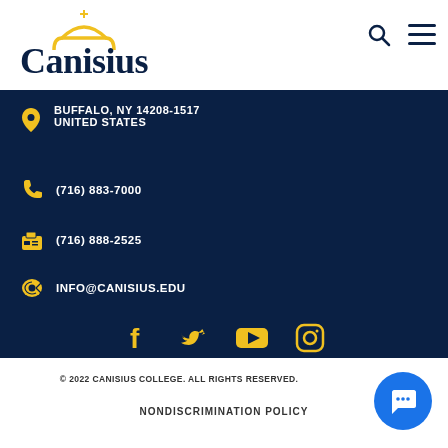Canisius [logo with navigation icons]
BUFFALO, NY 14208-1517 UNITED STATES
(716) 883-7000
(716) 888-2525
INFO@CANISIUS.EDU
[Figure (illustration): Social media icons: Facebook, Twitter, YouTube, Instagram in gold/yellow color]
© 2022 CANISIUS COLLEGE. ALL RIGHTS RESERVED.
NONDISCRIMINATION POLICY